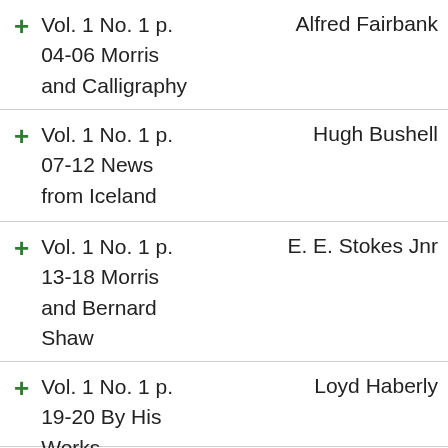Vol. 1 No. 1 p. 04-06 Morris and Calligraphy
Vol. 1 No. 1 p. 07-12 News from Iceland
Vol. 1 No. 1 p. 13-18 Morris and Bernard Shaw
Vol. 1 No. 1 p. 19-20 By His Works